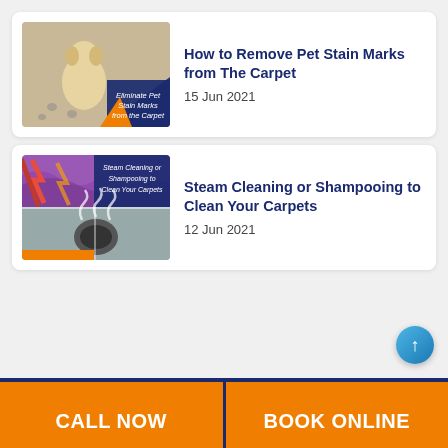[Figure (photo): Blog post thumbnail: golden labrador dog sitting on a carpet with paw print stains, with a blue and orange graphic overlay reading 'Eliminate Pet Stain Marks from the Carpet']
How to Remove Pet Stain Marks from The Carpet
15 Jun 2021
[Figure (photo): Blog post thumbnail: steam cleaning carpet and colorful carpet with cleaning equipment, with blue overlay reading 'Steam Cleaning or Shampooing to Clean Your Carpets']
Steam Cleaning or Shampooing to Clean Your Carpets
12 Jun 2021
CALL NOW
BOOK ONLINE